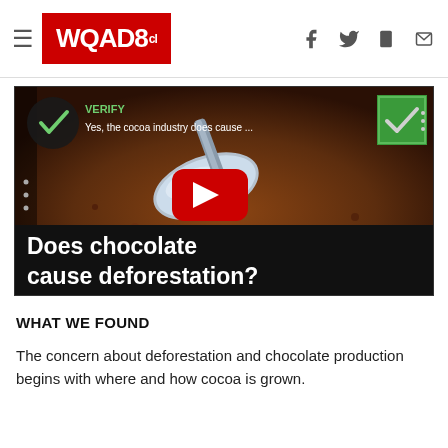WQAD8
[Figure (screenshot): Video thumbnail for 'Does chocolate cause deforestation?' showing a shovel in cocoa/soil with a YouTube play button, VERIFY checkmark branding, and a green checkbox in the top right. Text overlay reads: 'Yes, the cocoa industry does cause ...' and bottom bar reads 'Does chocolate cause deforestation?']
WHAT WE FOUND
The concern about deforestation and chocolate production begins with where and how cocoa is grown.